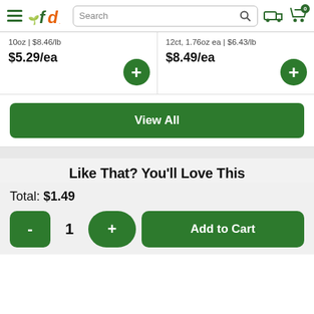[Figure (screenshot): FreshDirect grocery website header with hamburger menu, fd logo, search bar, delivery truck icon, and shopping cart with 0 badge]
10oz | $8.46/lb
$5.29/ea
12ct, 1.76oz ea | $6.43/lb
$8.49/ea
View All
Like That? You'll Love This
Total: $1.49
1
Add to Cart